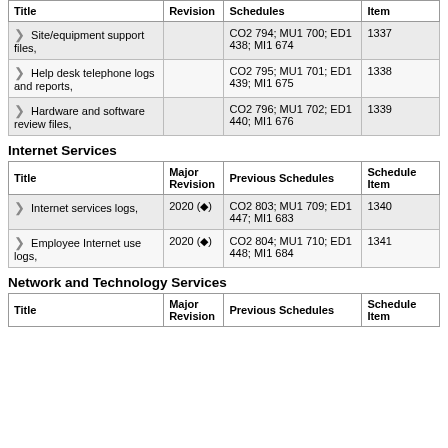| Title | Revision | Schedules | Item |
| --- | --- | --- | --- |
| Site/equipment support files, |  | CO2 794; MU1 700; ED1 438; MI1 674 | 1337 |
| Help desk telephone logs and reports, |  | CO2 795; MU1 701; ED1 439; MI1 675 | 1338 |
| Hardware and software review files, |  | CO2 796; MU1 702; ED1 440; MI1 676 | 1339 |
Internet Services
| Title | Major Revision | Previous Schedules | Schedule Item |
| --- | --- | --- | --- |
| Internet services logs, | 2020 (◆) | CO2 803; MU1 709; ED1 447; MI1 683 | 1340 |
| Employee Internet use logs, | 2020 (◆) | CO2 804; MU1 710; ED1 448; MI1 684 | 1341 |
Network and Technology Services
| Title | Major Revision | Previous Schedules | Schedule Item |
| --- | --- | --- | --- |